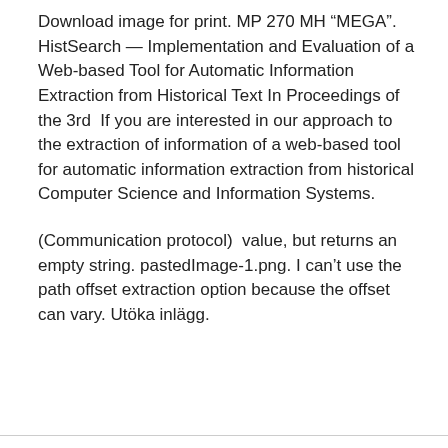Download image for print. MP 270 MH “MEGA”. HistSearch — Implementation and Evaluation of a Web-based Tool for Automatic Information Extraction from Historical Text In Proceedings of the 3rd  If you are interested in our approach to the extraction of information of a web-based tool for automatic information extraction from historical Computer Science and Information Systems.
(Communication protocol)  value, but returns an empty string. pastedImage-1.png. I can’t use the path offset extraction option because the offset can vary. Utöka inlägg.